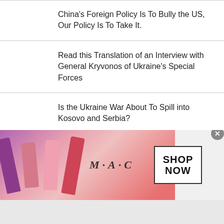China's Foreign Policy Is To Bully the US, Our Policy Is To Take It.
Read this Translation of an Interview with General Kryvonos of Ukraine's Special Forces
Is the Ukraine War About To Spill into Kosovo and Serbia?
India Will Move Away From Russian Weapons, Grounds All Their MiG-21s
[Figure (advertisement): M.A.C cosmetics ad with lipsticks on the left, M.A.C logo in center, and SHOP NOW box on the right]